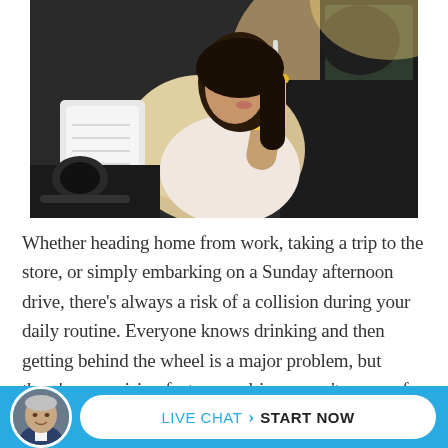[Figure (photo): A young woman sitting in the driver's seat of a car, drinking from a cup with a straw and holding/writing on a notepad, depicting distracted driving behavior.]
Whether heading home from work, taking a trip to the store, or simply embarking on a Sunday afternoon drive, there's always a risk of a collision during your daily routine. Everyone knows drinking and then getting behind the wheel is a major problem, but there's a surprising fact many drivers aren't aware of
[Figure (photo): Live chat widget bar at the bottom with an older man's avatar photo on the left and a white rounded button reading 'LIVE CHAT > START NOW' on a light blue background.]